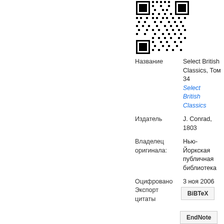[Figure (other): QR code image in the upper right portion of the page]
| Название | Select British Classics, Том 34
Select British Classics |
| Издатель | J. Conrad, 1803 |
| Владелец оригинала: | Нью-Йоркская публичная библиотека |
| Оцифровано | 3 ноя 2006 |
Экспорт цитаты
BiBTeX
EndNote